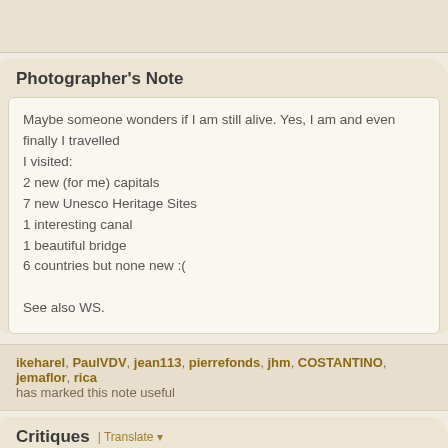Photographer's Note
Maybe someone wonders if I am still alive. Yes, I am and even finally I travelled
I visited:
2 new (for me) capitals
7 new Unesco Heritage Sites
1 interesting canal
1 beautiful bridge
6 countries but none new :(

See also WS.
ikeharel, PaulVDV, jean113, pierrefonds, jhm, COSTANTINO, jemaflor, rica has marked this note useful
Critiques | Translate
lousat (140154) 2021-10-14 3:25
Ciao Moira welcome back here too after your days of work but above all of m...